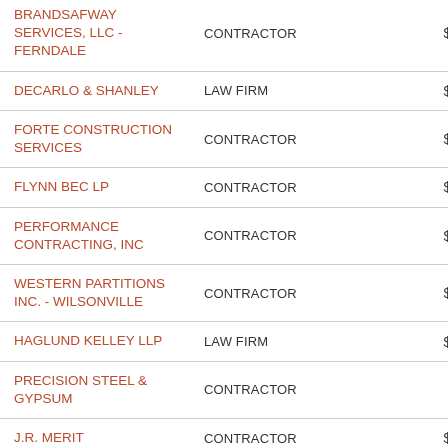| Name | Type | Amount |
| --- | --- | --- |
| BRANDSAFWAY SERVICES, LLC - FERNDALE | CONTRACTOR | $521,389 |
| DECARLO & SHANLEY | LAW FIRM | $289,091 |
| FORTE CONSTRUCTION SERVICES | CONTRACTOR | $265,914 |
| FLYNN BEC LP | CONTRACTOR | $235,610 |
| PERFORMANCE CONTRACTING, INC | CONTRACTOR | $161,624 |
| WESTERN PARTITIONS INC. - WILSONVILLE | CONTRACTOR | $155,850 |
| HAGLUND KELLEY LLP | LAW FIRM | $149,295 |
| PRECISION STEEL & GYPSUM | CONTRACTOR | $... |
| J.R. MERIT | CONTRACTOR | $142,803 |